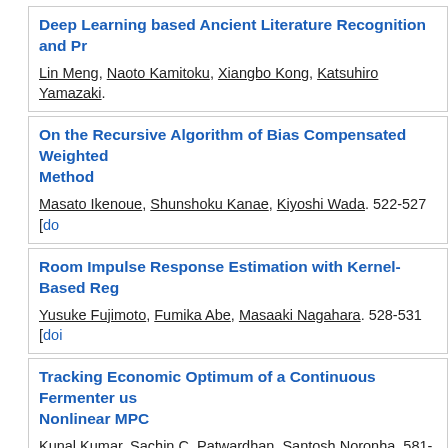Deep Learning based Ancient Literature Recognition and Pr...
Lin Meng, Naoto Kamitoku, Xiangbo Kong, Katsuhiro Yamazaki...
On the Recursive Algorithm of Bias Compensated Weighted Method
Masato Ikenoue, Shunshoku Kanae, Kiyoshi Wada. 522-527 [doi]
Room Impulse Response Estimation with Kernel-Based Reg...
Yusuke Fujimoto, Fumika Abe, Masaaki Nagahara. 528-531 [doi]
Tracking Economic Optimum of a Continuous Fermenter us... Nonlinear MPC
Kunal Kumar, Sachin C. Patwardhan, Santosh Noronha. 581-58...
Development of Data Utilization Platform for Utilizing a Larg... Data of Business Systems in the Railway Field
Hidenori Yamamoto, Takeshi Honda, Yuko Kato, Kenji Kawasak... 612 [doi]